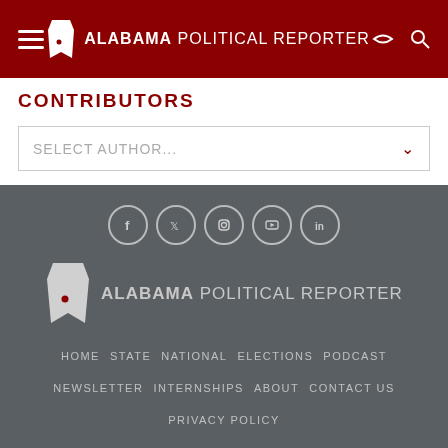Alabama Political Reporter
CONTRIBUTORS
SELECT AUTHOR...
[Figure (logo): Alabama Political Reporter footer logo with Alabama state outline]
HOME  STATE  NATIONAL  ELECTIONS  PODCAST  NEWSLETTER  INTERNSHIPS  ABOUT  CONTACT US  PRIVACY POLICY
Copyright © Alabama Political Reporter